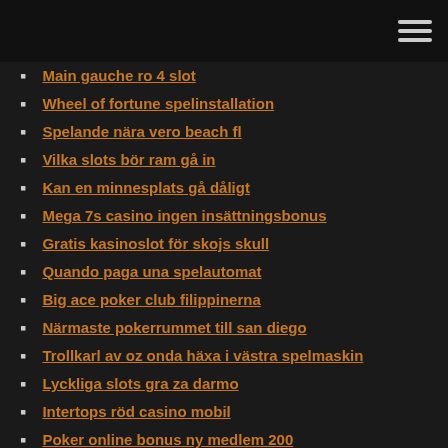Main gauche ro 4 slot
Wheel of fortune spelinstallation
Spelande nära vero beach fl
Vilka slots bör ram gå in
Kan en minnesplats gå dåligt
Mega 7s casino ingen insättningsbonus
Gratis kasinoslot för skojs skull
Quando paga una spelautomat
Big ace poker club filippinerna
Närmaste pokerrummet till san diego
Trollkarl av oz onda häxa i västra spelmaskin
Lyckliga slots gra za darmo
Intertops röd casino mobil
Poker online bonus ny medlem 200